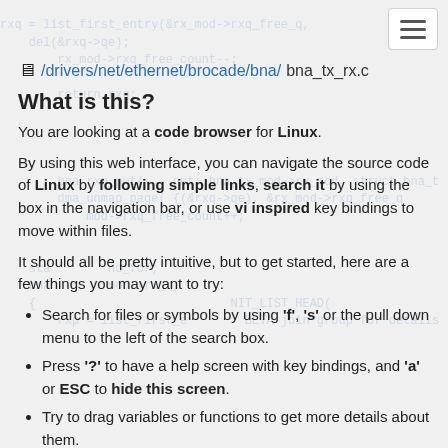[Figure (other): Hamburger menu button in top right corner]
🖥 /drivers/net/ethernet/brocade/bna/bna_tx_rx.c
What is this?
You are looking at a code browser for Linux.
By using this web interface, you can navigate the source code of Linux by following simple links, search it by using the box in the navigation bar, or use vi inspired key bindings to move within files.
It should all be pretty intuitive, but to get started, here are a few things you may want to try:
Search for files or symbols by using 'f', 's' or the pull down menu to the left of the search box.
Press '?' to have a help screen with key bindings, and 'a' or ESC to hide this screen.
Try to drag variables or functions to get more details about them.
This site was generated via sbexr, which uses LLVM and clang to parse and index the code.